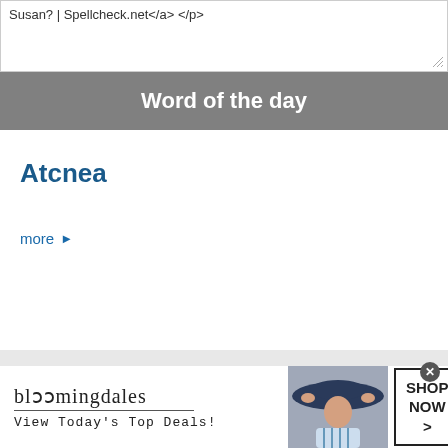Susan? | Spellcheck.net</a> </p>
Word of the day
Atcnea
more ▶
[Figure (screenshot): Bloomingdale's advertisement banner with logo, tagline 'View Today's Top Deals!', a woman in a large hat, and a 'SHOP NOW >' button]